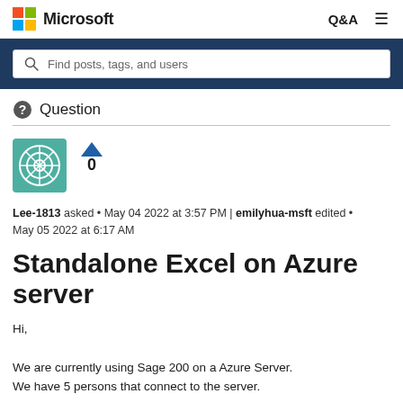Microsoft  Q&A  ☰
Find posts, tags, and users
Question
Lee-1813 asked • May 04 2022 at 3:57 PM | emilyhua-msft edited • May 05 2022 at 6:17 AM
Standalone Excel on Azure server
Hi,

We are currently using Sage 200 on a Azure Server.
We have 5 persons that connect to the server.